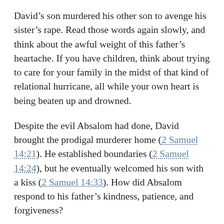David’s son murdered his other son to avenge his sister’s rape. Read those words again slowly, and think about the awful weight of this father’s heartache. If you have children, think about trying to care for your family in the midst of that kind of relational hurricane, all while your own heart is being beaten up and drowned.
Despite the evil Absalom had done, David brought the prodigal murderer home (2 Samuel 14:21). He established boundaries (2 Samuel 14:24), but he eventually welcomed his son with a kiss (2 Samuel 14:33). How did Absalom respond to his father’s kindness, patience, and forgiveness?
He conspired to overthrow his father’s kingdom (2…